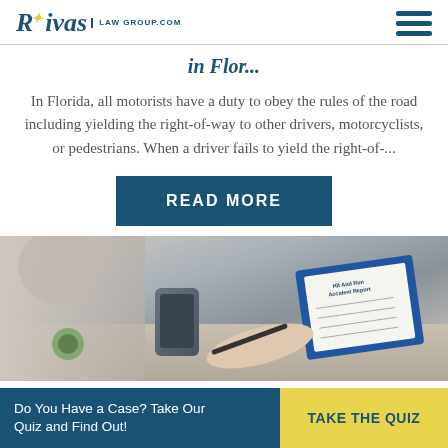Rivas Law Group.com
in Flor...
In Florida, all motorists have a duty to obey the rules of the road including yielding the right-of-way to other drivers, motorcyclists, or pedestrians. When a driver fails to yield the right-of-...
READ MORE
[Figure (photo): Person writing on a clipboard with a pen, sitting at a desk with a phone in the background]
Do You Have a Case? Take Our Quiz and Find Out! TAKE THE QUIZ